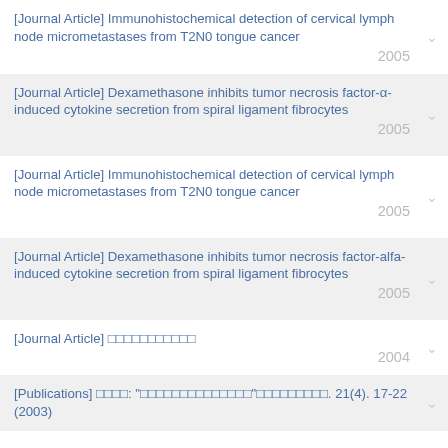[Journal Article] Immunohistochemical detection of cervical lymph node micrometastases from T2N0 tongue cancer 2005
[Journal Article] Dexamethasone inhibits tumor necrosis factor-α-induced cytokine secretion from spiral ligament fibrocytes 2005
[Journal Article] Immunohistochemical detection of cervical lymph node micrometastases from T2N0 tongue cancer 2005
[Journal Article] Dexamethasone inhibits tumor necrosis factor-alfa-induced cytokine secretion from spiral ligament fibrocytes 2005
[Journal Article] □□□□□□□□□□□ 2004
[Publications] □□□□: "□□□□□□□□□□□□□□"□□□□□□□□□. 21(4). 17-22 (2003)